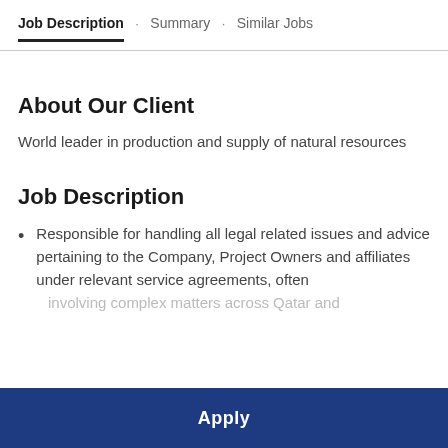Job Description · Summary · Similar Jobs
About Our Client
World leader in production and supply of natural resources
Job Description
Responsible for handling all legal related issues and advice pertaining to the Company, Project Owners and affiliates under relevant service agreements, often involving complex matters across Qatar and
Apply